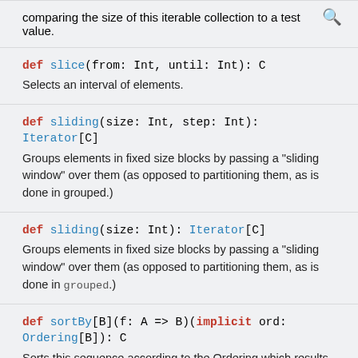comparing the size of this iterable collection to a test value.
def slice(from: Int, until: Int): C
Selects an interval of elements.
def sliding(size: Int, step: Int): Iterator[C]
Groups elements in fixed size blocks by passing a "sliding window" over them (as opposed to partitioning them, as is done in grouped.)
def sliding(size: Int): Iterator[C]
Groups elements in fixed size blocks by passing a "sliding window" over them (as opposed to partitioning them, as is done in grouped.)
def sortBy[B](f: A => B)(implicit ord: Ordering[B]): C
Sorts this sequence according to the Ordering which results from transforming an implicitly given